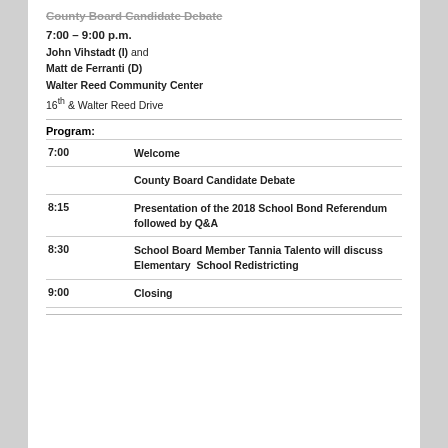County Board Candidate Debate
7:00 – 9:00 p.m.
John Vihstadt (I) and Matt de Ferranti (D)
Walter Reed Community Center
16th & Walter Reed Drive
Program:
| Time | Event |
| --- | --- |
| 7:00 | Welcome |
|  | County Board Candidate Debate |
| 8:15 | Presentation of the 2018 School Bond Referendum followed by Q&A |
| 8:30 | School Board Member Tannia Talento will discuss Elementary  School Redistricting |
| 9:00 | Closing |